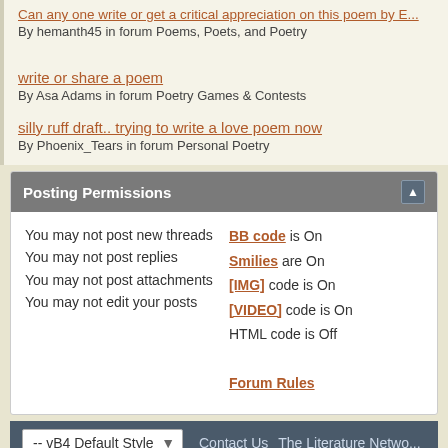Can any one write or get a critical appreciation on this poem by E... By hemanth45 in forum Poems, Poets, and Poetry
write or share a poem
By Asa Adams in forum Poetry Games & Contests
silly ruff draft.. trying to write a love poem now
By Phoenix_Tears in forum Personal Poetry
Posting Permissions
You may not post new threads
You may not post replies
You may not post attachments
You may not edit your posts
BB code is On
Smilies are On
[IMG] code is On
[VIDEO] code is On
HTML code is Off
Forum Rules
-- vB4 Default Style | Contact Us | The Literature Netwo...
All times are GMT -4. The time now is 09:2...
Powered by: vBulletin, Copyright ©2000 - 2006, Jelsoft E...
Site Copyright © 2000-2004 Jalic LLC. All right...